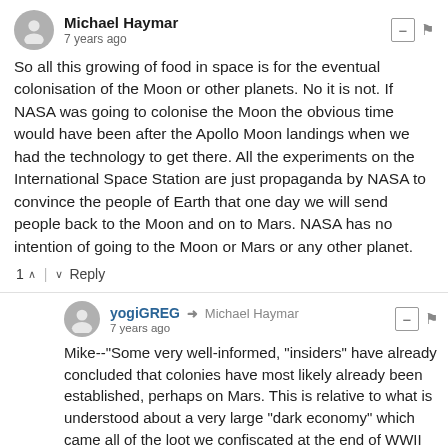Michael Haymar
7 years ago
So all this growing of food in space is for the eventual colonisation of the Moon or other planets. No it is not. If NASA was going to colonise the Moon the obvious time would have been after the Apollo Moon landings when we had the technology to get there. All the experiments on the International Space Station are just propaganda by NASA to convince the people of Earth that one day we will send people back to the Moon and on to Mars. NASA has no intention of going to the Moon or Mars or any other planet.
1  ∧  |  ∨  Reply
yogiGREG → Michael Haymar
7 years ago
Mike--"Some very well-informed, "insiders" have already concluded that colonies have most likely already been established, perhaps on Mars. This is relative to what is understood about a very large "dark economy" which came all of the loot we confiscated at the end of WWII that the Japanese and Nazis had stolen from around the world and amass.. it simply "went underground." I know, hard to get